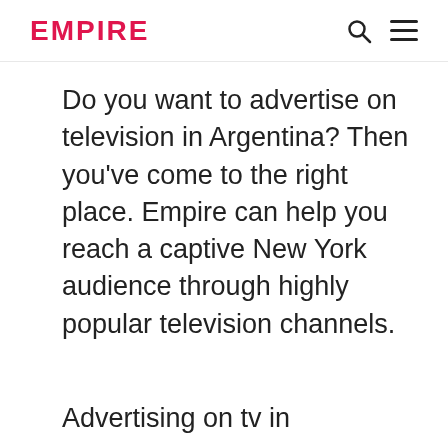EMPIRE
Do you want to advertise on television in Argentina? Then you’ve come to the right place. Empire can help you reach a captive New York audience through highly popular television channels.
Advertising on tv in